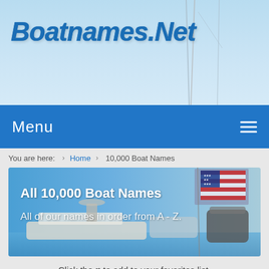[Figure (photo): Header background: light blue sky with mast poles visible, boat harbor scene]
Boatnames.Net
Menu
You are here: › Home › 10,000 Boat Names
[Figure (photo): Hero banner showing boats with American flag, blue sky, ocean scene with text overlay: All 10,000 Boat Names / All of our names in order from A - Z.]
Click the ♥ to add to your favorites list.